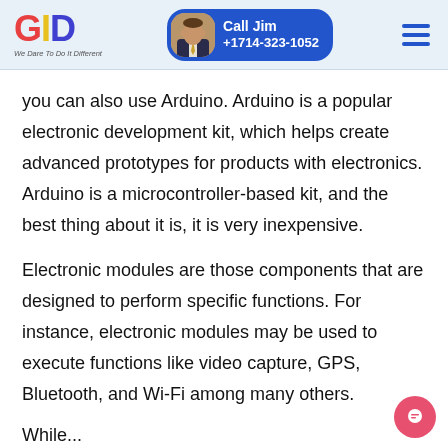GID — We Dare To Do It Different | Call Jim +1714-323-1052
you can also use Arduino. Arduino is a popular electronic development kit, which helps create advanced prototypes for products with electronics. Arduino is a microcontroller-based kit, and the best thing about it is, it is very inexpensive.
Electronic modules are those components that are designed to perform specific functions. For instance, electronic modules may be used to execute functions like video capture, GPS, Bluetooth, and Wi-Fi among many others.
While...